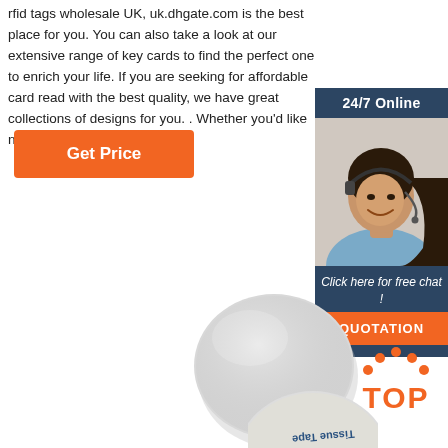rfid tags wholesale UK, uk.dhgate.com is the best place for you. You can also take a look at our extensive range of key cards to find the perfect one to enrich your life. If you are seeking for affordable card read with the best quality, we have great collections of designs for you. . Whether you'd like nfc tags UK or …
Get Price
[Figure (photo): Sidebar with '24/7 Online' header, photo of a smiling woman wearing a headset, 'Click here for free chat!' text, and an orange 'QUOTATION' button, all on a dark navy background]
[Figure (photo): A round gray NFC/RFID disc tag (light gray, slightly glossy)]
[Figure (logo): 'TOP' logo with orange dots arranged in an arc above the word TOP in orange block letters]
[Figure (photo): Partial view of another disc with 'Tissue Tape' text printed upside-down on it]